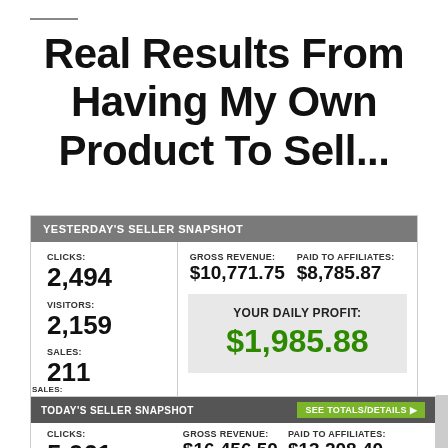Real Results From Having My Own Product To Sell...
[Figure (screenshot): Yesterday's Seller Snapshot dashboard showing clicks: 2,494, visitors: 2,159, sales: 211, gross revenue: $10,771.75, paid to affiliates: $8,785.87, your daily profit: $1,985.88]
[Figure (screenshot): Today's Seller Snapshot dashboard (partially visible) showing clicks: 5,061, gross revenue: $16,456.50, paid to affiliates: $13,208.40]